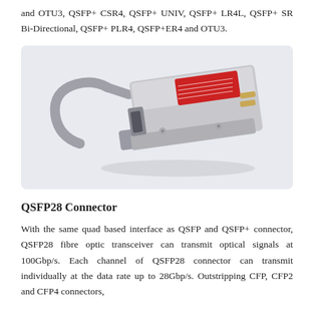and OTU3, QSFP+ CSR4, QSFP+ UNIV, QSFP+ LR4L, QSFP+ SR Bi-Directional, QSFP+ PLR4, QSFP+ER4 and OTU3.
[Figure (photo): A QSFP+ fibre optic transceiver module with a silver metallic body and a gray bail latch/lever arm, shown at an angle. The module has a red label on top.]
QSFP28 Connector
With the same quad based interface as QSFP and QSFP+ connector, QSFP28 fibre optic transceiver can transmit optical signals at 100Gbp/s. Each channel of QSFP28 connector can transmit individually at the data rate up to 28Gbp/s. Outstripping CFP, CFP2 and CFP4 connectors,